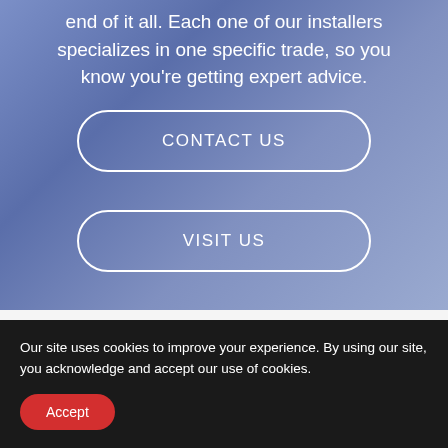end of it all. Each one of our installers specializes in one specific trade, so you know you're getting expert advice.
CONTACT US
VISIT US
Our site uses cookies to improve your experience. By using our site, you acknowledge and accept our use of cookies.
Accept